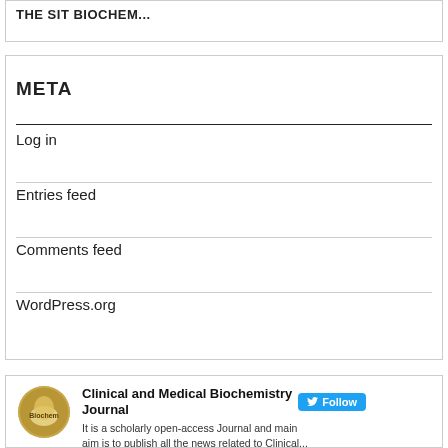THE SIT BIOCHEM...
META
Log in
Entries feed
Comments feed
WordPress.org
Clinical and Medical Biochemistry Journal  Follow  It is a scholarly open-access Journal and main aim is to publish all the news related to Clinical...